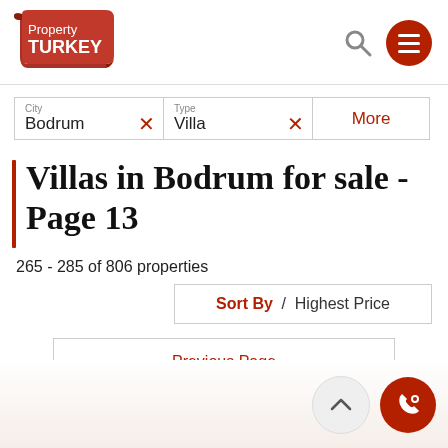[Figure (logo): Property Turkey logo - red scroll/ribbon shape with white text 'Property TURKEY']
City
Bodrum ×
Type
Villa ×
More
Villas in Bodrum for sale - Page 13
265 - 285 of 806 properties
Sort By / Highest Price
Previous Page